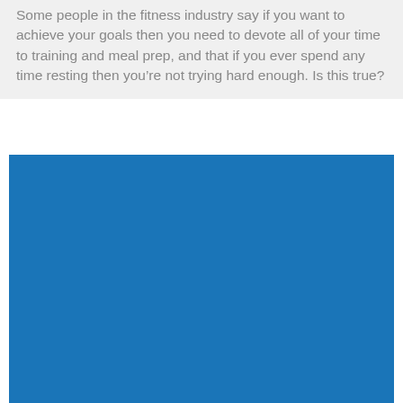Some people in the fitness industry say if you want to achieve your goals then you need to devote all of your time to training and meal prep, and that if you ever spend any time resting then you're not trying hard enough. Is this true?
[Figure (photo): A solid blue rectangle filling the lower portion of the page, likely a placeholder for an image related to fitness or rest.]